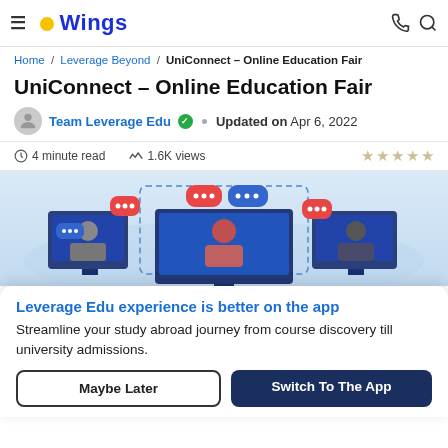Wings (logo with navigation icons)
Home / Leverage Beyond / UniConnect – Online Education Fair
UniConnect – Online Education Fair
Team Leverage Edu ✓  •  Updated on  Apr 6, 2022
4 minute read   1.6K views   ★★★★★ (stars)
[Figure (illustration): Illustration of online education with people on video screens and chat bubbles]
Leverage Edu experience is better on the app
Streamline your study abroad journey from course discovery till university admissions.
Maybe Later  |  Switch To The App